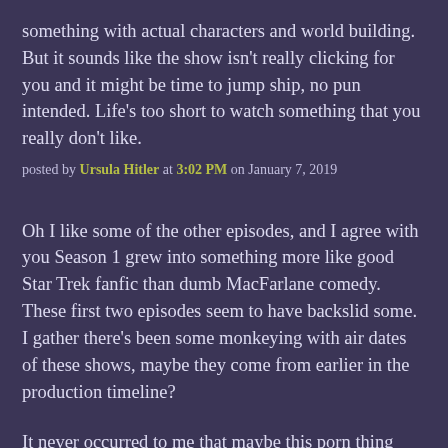something with actual characters and world building. But it sounds like the show isn't really clicking for you and it might be time to jump ship, no pun intended. Life's too short to watch something that you really don't like.
posted by Ursula Hitler at 3:02 PM on January 7, 2019
Oh I like some of the other episodes, and I agree with you Season 1 grew into something more like good Star Trek fanfic than dumb MacFarlane comedy. These first two episodes seem to have backslid some. I gather there's been some monkeying with air dates of these shows, maybe they come from earlier in the production timeline?
It never occurred to me that maybe this porn thing wasn't supposed to be funny. A Very Special Episode, perhaps, with some words delivered directly to the camera about how to seek out help if you too suffer from porn addiction. Awfully